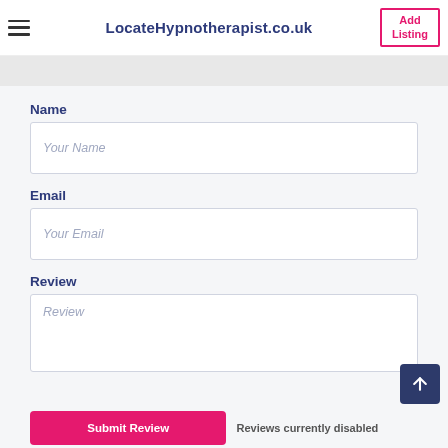LocateHypnotherapist.co.uk | Add Listing
Name
Your Name
Email
Your Email
Review
Review
Submit Review
Reviews currently disabled